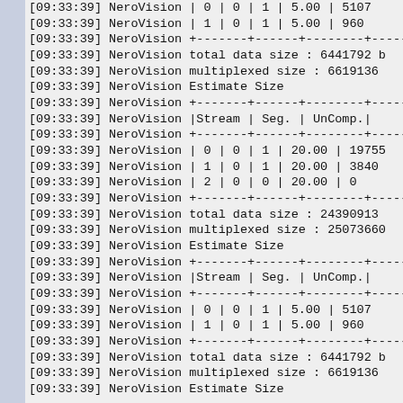[09:33:39] NeroVision | 0 | 0 | 1 | 5.00 | 5107
[09:33:39] NeroVision | 1 | 0 | 1 | 5.00 | 960
[09:33:39] NeroVision +-------+------+--------+----
[09:33:39] NeroVision total data size : 6441792 b
[09:33:39] NeroVision multiplexed size : 6619136
[09:33:39] NeroVision Estimate Size
[09:33:39] NeroVision +-------+------+--------+----
[09:33:39] NeroVision |Stream | Seg. | UnComp.|
[09:33:39] NeroVision +-------+------+--------+----
[09:33:39] NeroVision | 0 | 0 | 1 | 20.00 | 19755
[09:33:39] NeroVision | 1 | 0 | 1 | 20.00 | 3840
[09:33:39] NeroVision | 2 | 0 | 0 | 20.00 | 0
[09:33:39] NeroVision +-------+------+--------+----
[09:33:39] NeroVision total data size : 24390913
[09:33:39] NeroVision multiplexed size : 25073660
[09:33:39] NeroVision Estimate Size
[09:33:39] NeroVision +-------+------+--------+----
[09:33:39] NeroVision |Stream | Seg. | UnComp.|
[09:33:39] NeroVision +-------+------+--------+----
[09:33:39] NeroVision | 0 | 0 | 1 | 5.00 | 5107
[09:33:39] NeroVision | 1 | 0 | 1 | 5.00 | 960
[09:33:39] NeroVision +-------+------+--------+----
[09:33:39] NeroVision total data size : 6441792 b
[09:33:39] NeroVision multiplexed size : 6619136
[09:33:39] NeroVision Estimate Size